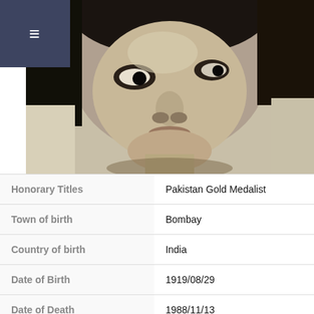[Figure (photo): Black and white close-up portrait photograph of a person's face]
| Field | Value |
| --- | --- |
| Honorary Titles | Pakistan Gold Medalist |
| Town of birth | Bombay |
| Country of birth | India |
| Date of Birth | 1919/08/29 |
| Date of Death | 1988/11/13 |
| Place of Death | Karachi |
| Name of institution of |  |